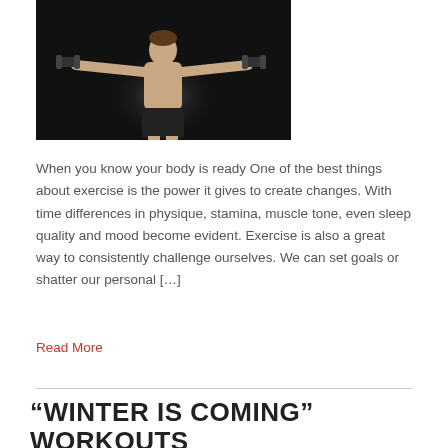[Figure (photo): A shirtless male athlete holding dumbbells with arms spread wide apart against a dark background.]
When you know your body is ready One of the best things about exercise is the power it gives to create changes. With time differences in physique, stamina, muscle tone, even sleep quality and mood become evident. Exercise is also a great way to consistently challenge ourselves. We can set goals or shatter our personal […]
Read More
“WINTER IS COMING” WORKOUTS